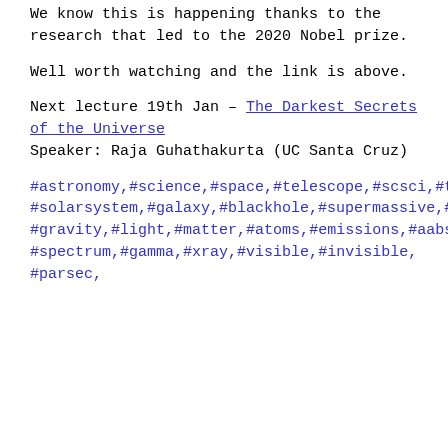We know this is happening thanks to the research that led to the 2020 Nobel prize.
Well worth watching and the link is above.
Next lecture 19th Jan – The Darkest Secrets of the Universe
Speaker: Raja Guhathakurta (UC Santa Cruz)
#astronomy,#science,#space,#telescope,#scsci,#talk,#solarsystem,#galaxy,#blackhole,#supermassive,#stars,#gravity,#light,#matter,#atoms,#emissions,#aabsorption,#spectrum,#gamma,#xray,#visible,#invisible,#parsec,